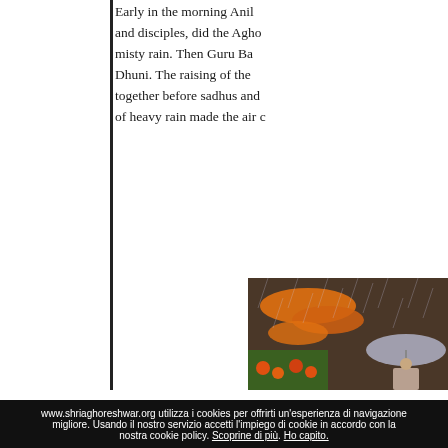Early in the morning Anil and disciples, did the Agho misty rain. Then Guru Ba Dhuni. The raising of the together before sadhus and of heavy rain made the air c
[Figure (photo): Outdoor scene in heavy rain showing orange marigold garlands hanging from a structure, green plants with orange flowers at bottom, and a person holding a grey umbrella on the right side.]
www.shriaghoreshwar.org utilizza i cookies per offrirti un'esperienza di navigazione migliore. Usando il nostro servizio accetti l'impiego di cookie in accordo con la nostra cookie policy. Scoprine di più. Ho capito.